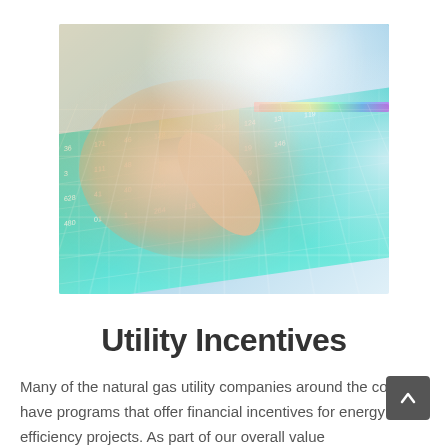[Figure (photo): A person's hand with index finger pointing/touching a glowing colorful holographic keyboard or data grid display, with teal, cyan, and multicolored illuminated keys showing numbers, placed on a light surface.]
Utility Incentives
Many of the natural gas utility companies around the country have programs that offer financial incentives for energy efficiency projects. As part of our overall value